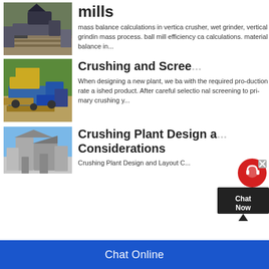[Figure (photo): Outdoor mining/crushing machinery with a large yellow excavator or loader on a gravel site]
mills
mass balance calculations in vertical crusher, wet grinder, vertical grinding mass process. ball mill efficiency calculations. material balance in...
[Figure (photo): Yellow and blue crushing and screening plant equipment on a gravel/dirt site with trees in background]
Crushing and Screening
When designing a new plant, we balance with the required pro-duction rate and ished product. After careful selection, nal screening to pri-mary crushing y...
[Figure (photo): Large grey crushing plant machinery against a blue sky]
Crushing Plant Design and Layout Considerations
Crushing Plant Design and Layout C...
Chat Online